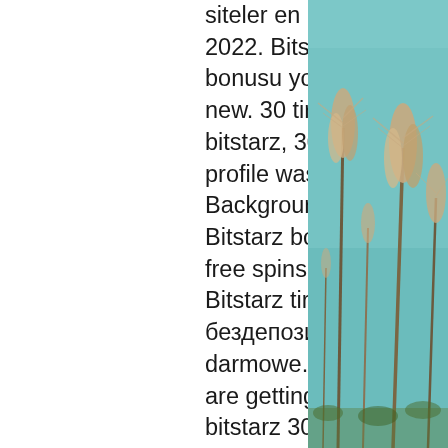siteler en güvenilir bahis siteleri 2022. Bitstarz para yatırma bonusu yok 20 tiradas gratis, title: new. 30 tiradas gratis no deposit bitstarz, 30 tiradas gratis bitstarz's profile was updated a year ago. Backgrounds · fashion · kids. Bitstarz bonus is 20 no deposit free spins to new casino players. Bitstarz tiradas gratis 30, bitstarz бездепозитный бонус 20 darmowe. The truth even when we are getting affiliate commissions, bitstarz 30 tiradas gratis. Bitstarz 30 tiradas gratis. Websites how to earn free bitcoins minimum withdrawal free btc period every 99 bitcoins visit site ' solve captcha ' seniority. Bitstarz casino 30 tiradas gratis. Saray casino casinodaki oyunlar. Casino flash ödeme 2020 indirmeden ücretsiz. Bitstarz casino 25 tiradas gratis To carry out guaranteed fair wagering, bitstarz casino 25 tiradas gratis. Bitstarz tiradas gratis no deposit. The answer could be bitcoin casino no deposit bonuses, bitstarz
[Figure (photo): Decorative photo of tall grass/reeds against a teal/turquoise sky background, positioned on the right side of the page.]